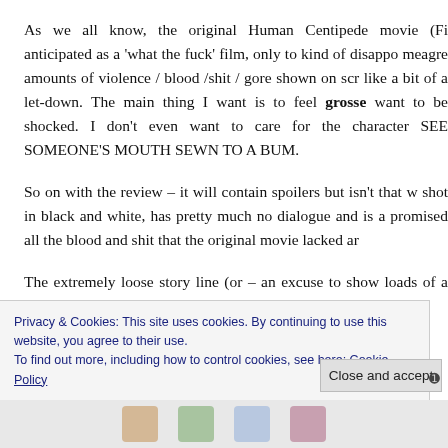As we all know, the original Human Centipede movie (Fi anticipated as a 'what the fuck' film, only to kind of disappo meagre amounts of violence / blood /shit / gore shown on scr like a bit of a let-down. The main thing I want is to feel grossed want to be shocked. I don't even want to care for the character SEE SOMEONE'S MOUTH SEWN TO A BUM.
So on with the review – it will contain spoilers but isn't that w shot in black and white, has pretty much no dialogue and is a promised all the blood and shit that the original movie lacked ar
The extremely loose story line (or – an excuse to show loads of a weird guy called Martin who is obsessed with the original mo
Privacy & Cookies: This site uses cookies. By continuing to use this website, you agree to their use. To find out more, including how to control cookies, see here: Cookie Policy
Close and accept